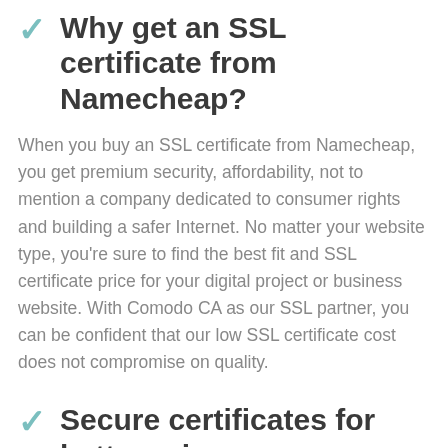Why get an SSL certificate from Namecheap?
When you buy an SSL certificate from Namecheap, you get premium security, affordability, not to mention a company dedicated to consumer rights and building a safer Internet. No matter your website type, you're sure to find the best fit and SSL certificate price for your digital project or business website. With Comodo CA as our SSL partner, you can be confident that our low SSL certificate cost does not compromise on quality.
Secure certificates for better prices